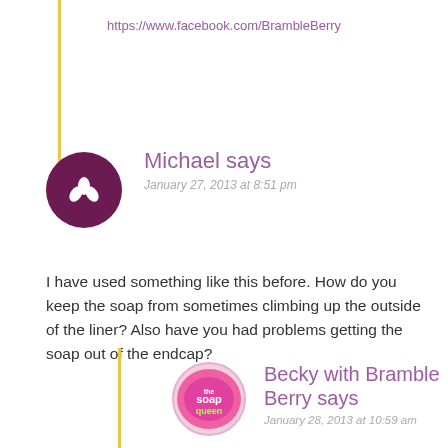https://www.facebook.com/BrambleBerry
Michael says
January 27, 2013 at 8:51 pm
I have used something like this before. How do you keep the soap from sometimes climbing up the outside of the liner? Also have you had problems getting the soap out of the endcap?
Becky with Bramble Berry says
January 28, 2013 at 10:59 am